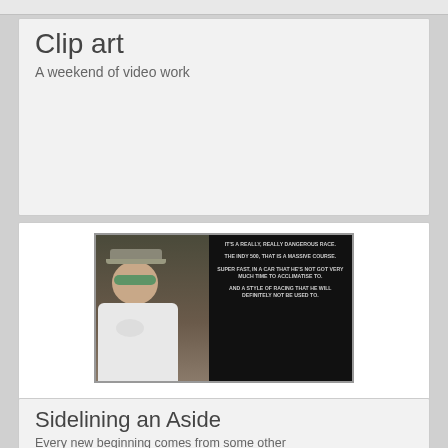Clip art
A weekend of video work
[Figure (photo): Video thumbnail showing a racing driver (Fernando Alonso) in McLaren-Honda gear with sunglasses, next to a dark panel with text quotes about the Indy 500 being dangerous]
17/04/2017 by Mr. C
With a number of days free this week, we tried to make the most of our downtime. In addition to tidying up a few loose ends on this site, we managed to record a number of podcasts and experiment with some new mobile technology.
Sidelining an Aside
Every new beginning comes from some other